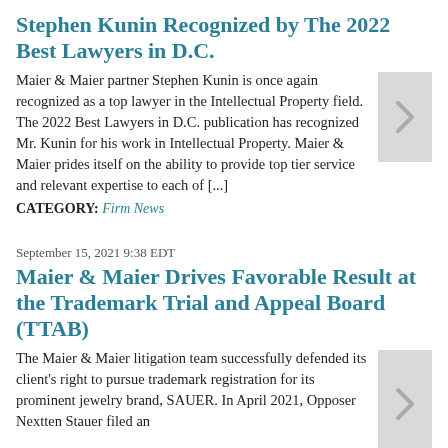Stephen Kunin Recognized by The 2022 Best Lawyers in D.C.
Maier & Maier partner Stephen Kunin is once again recognized as a top lawyer in the Intellectual Property field.  The 2022 Best Lawyers in D.C. publication has recognized Mr. Kunin for his work in Intellectual Property. Maier & Maier prides itself on the ability to provide top tier service and relevant expertise to each of [...]
CATEGORY: Firm News
September 15, 2021 9:38 EDT
Maier & Maier Drives Favorable Result at the Trademark Trial and Appeal Board (TTAB)
The Maier & Maier litigation team successfully defended its client's right to pursue trademark registration for its prominent jewelry brand, SAUER. In April 2021, Opposer Nextten Stauer filed an